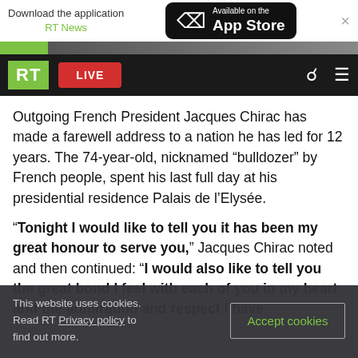Download the application RT News | Available on the App Store
[Figure (screenshot): RT News navigation bar with green RT logo, red LIVE button, search and menu icons on dark background]
Outgoing French President Jacques Chirac has made a farewell address to a nation he has led for 12 years. The 74-year-old, nicknamed “bulldozer” by French people, spent his last full day at his presidential residence Palais de l'Elysée.
“Tonight I would like to tell you it has been my great honour to serve you,” Jacques Chirac noted and then continued: “I would also like to tell you the great bond I feel with each of you in my heart and the admiration and respect I have
This website uses cookies. Read RT Privacy policy to find out more.
Accept cookies